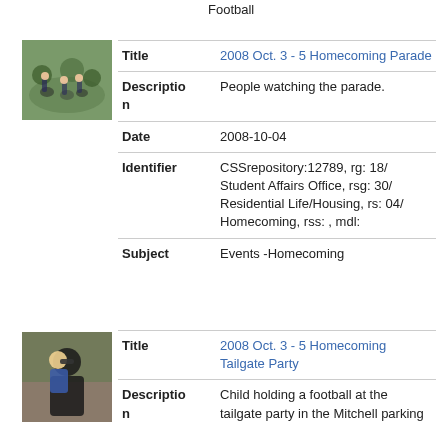Football
[Figure (photo): People sitting on grass watching an outdoor event, homecoming parade photo]
| Title | 2008 Oct. 3 - 5 Homecoming Parade |
| Description | People watching the parade. |
| Date | 2008-10-04 |
| Identifier | CSSrepository:12789, rg: 18/ Student Affairs Office, rsg: 30/ Residential Life/Housing, rs: 04/ Homecoming, rss: , mdl: |
| Subject | Events -Homecoming |
[Figure (photo): Person holding a child in blue jacket at a tailgate party]
| Title | 2008 Oct. 3 - 5 Homecoming Tailgate Party |
| Description | Child holding a football at the tailgate party in the Mitchell parking |